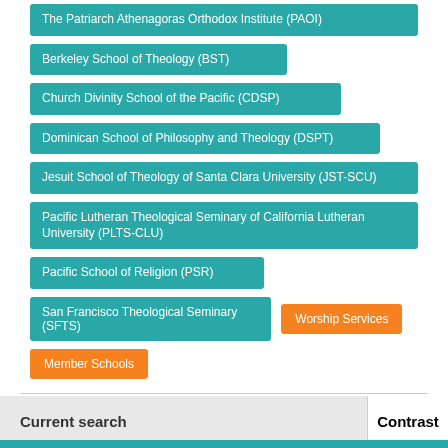The Patriarch Athenagoras Orthodox Institute (PAOI)
Berkeley School of Theology (BST)
Church Divinity School of the Pacific (CDSP)
Dominican School of Philosophy and Theology (DSPT)
Jesuit School of Theology of Santa Clara University (JST-SCU)
Pacific Lutheran Theological Seminary of California Lutheran University (PLTS-CLU)
Pacific School of Religion (PSR)
San Francisco Theological Seminary (SFTS)
Worship Services
Member Schools
Current search
Contrast